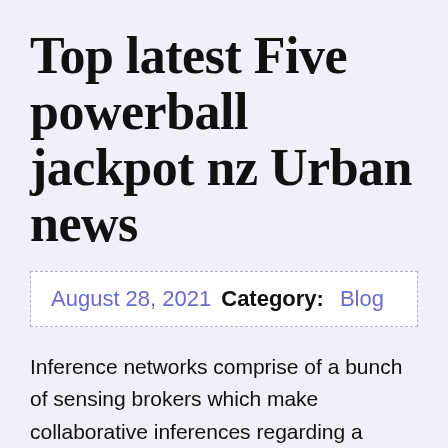Top latest Five powerball jackpot nz Urban news
August 28, 2021   Category:  Blog
Inference networks comprise of a bunch of sensing brokers which make collaborative inferences regarding a phenomenon of interest.At initialization, we randomly choose θ0, and that establishes the parameter tangent Room - that's our set of "lottery tickets". The SGD...